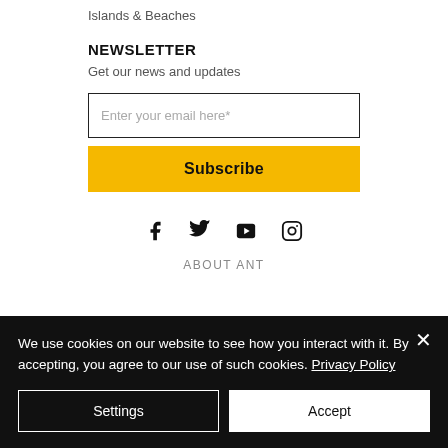Islands & Beaches
NEWSLETTER
Get our news and updates
Enter your email here*
Subscribe
[Figure (infographic): Social media icons: Facebook, Twitter, YouTube, Instagram]
ABOUT ANT
We use cookies on our website to see how you interact with it. By accepting, you agree to our use of such cookies. Privacy Policy
Settings
Accept